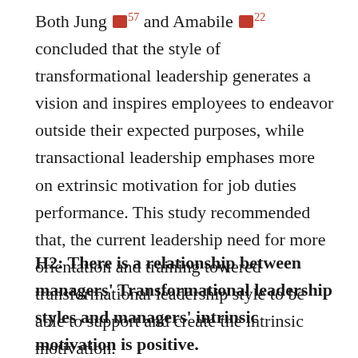Both Jung [57] and Amabile [22] concluded that the style of transformational leadership generates a vision and inspires employees to endeavor outside their expected purposes, while transactional leadership emphases more on extrinsic motivation for job duties performance. This study recommended that, the current leadership need for more orientation and training towered transformational leadership style to be able to support and create the intrinsic motivation.
H2: There is a relationship between managers' Transformational leadership styles and managers' intrinsic motivation is positive.